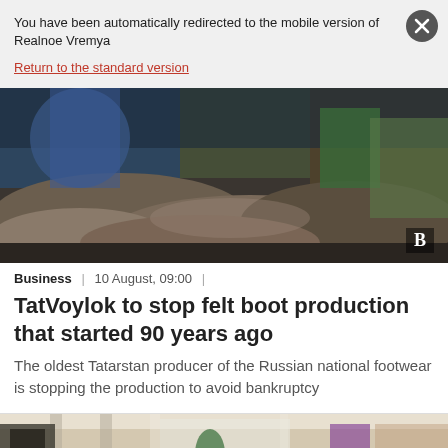You have been automatically redirected to the mobile version of Realnoe Vremya
Return to the standard version
[Figure (photo): Industrial scene with piles of felt/wool fabric material on a factory floor, machinery visible in background]
Business | 10 August, 09:00 |
TatVoylok to stop felt boot production that started 90 years ago
The oldest Tatarstan producer of the Russian national footwear is stopping the production to avoid bankruptcy
[Figure (photo): Shopping mall interior corridor with storefronts and people walking]